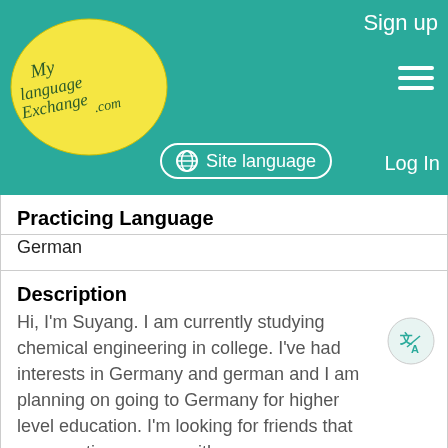Sign up | Site language | Log In
[Figure (logo): MyLanguageExchange.com logo in yellow oval]
Practicing Language
German
Description
Hi, I'm Suyang. I am currently studying chemical engineering in college. I've had interests in Germany and german and I am planning on going to Germany for higher level education. I'm looking for friends that can practice german with m.....
Name
[Figure (illustration): Smiley face emoji, yellow circle with smile]
Waiting for picture
Lisa
October 8, 2015